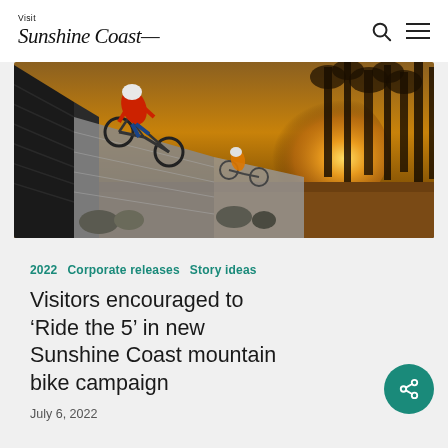Visit Sunshine Coast
[Figure (photo): Mountain biker in red jersey and white helmet riding off a wooden wall feature at a bike park, with another rider in background, golden sunset light through trees]
2022   Corporate releases   Story ideas
Visitors encouraged to ‘Ride the 5’ in new Sunshine Coast mountain bike campaign
July 6, 2022